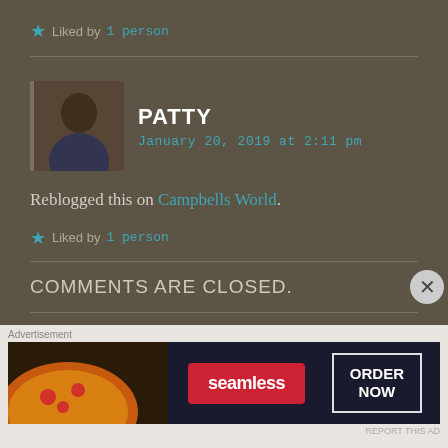★ Liked by 1 person
[Figure (photo): Avatar photo of Patty, a woman with dark curly hair outdoors]
PATTY
January 20, 2019 at 2:11 pm
Reblogged this on Campbells World.
★ Liked by 1 person
COMMENTS ARE CLOSED.
[Figure (photo): Seamless food delivery advertisement banner showing pizza with ORDER NOW button]